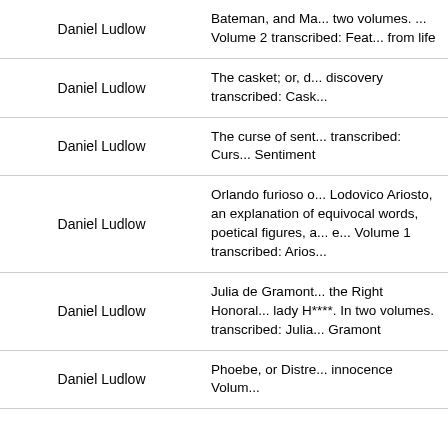| Author | Title |
| --- | --- |
| Daniel Ludlow | Bateman, and Ma... two volumes. ... Volume 2 transcribed: Feat... from life |
| Daniel Ludlow | The casket; or, d... discovery transcribed: Cask... |
| Daniel Ludlow | The curse of sent... transcribed: Curs... Sentiment |
| Daniel Ludlow | Orlando furioso o... Lodovico Ariosto, an explanation of equivocal words, poetical figures, a... e... Volume 1 transcribed: Arios... |
| Daniel Ludlow | Julia de Gramont... the Right Honoral... lady H****. In two volumes. transcribed: Julia... Gramont |
| Daniel Ludlow | Phoebe, or Distre... innocence Volum... |